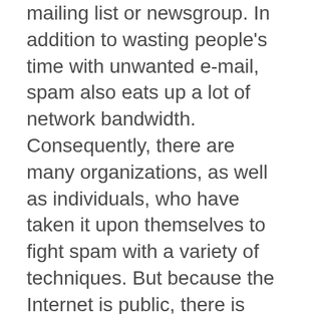mailing list or newsgroup. In addition to wasting people's time with unwanted e-mail, spam also eats up a lot of network bandwidth. Consequently, there are many organizations, as well as individuals, who have taken it upon themselves to fight spam with a variety of techniques. But because the Internet is public, there is really little that can be done to prevent spam, just as it is impossible to prevent junk mail. However, some online services have instituted policies to prevent spammers from spamming their subscribers.
Orthodontic Associates of New England in Nashua, NH has a zero-tolerance spam policy.
Registering to send e-mails from...